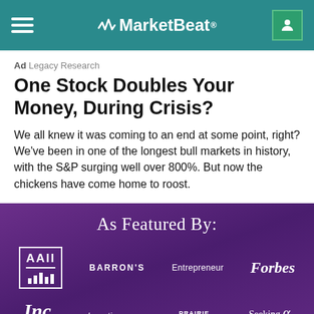MarketBeat
Ad  Legacy Research
One Stock Doubles Your Money, During Crisis?
We all knew it was coming to an end at some point, right? We've been in one of the longest bull markets in history, with the S&P surging well over 800%. But now the chickens have come home to roost.
As Featured By:
[Figure (logo): Logos of AAII, BARRON'S, Entrepreneur, Forbes, Inc, Investing.com, PRAIRIE, Seeking Alpha on purple background]